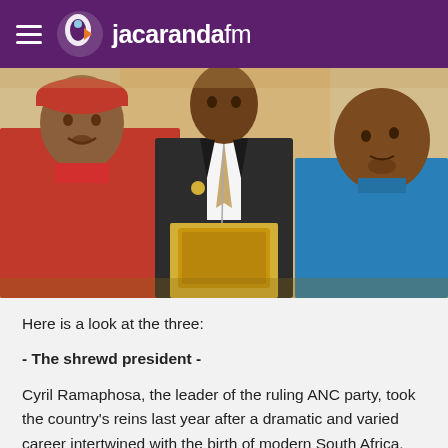jacarandafm
[Figure (photo): Three men in a parliament or formal setting. On the left, a man in a red top and red beret. In the center, a man in a dark suit standing at a podium with a microphone and a gold tablet/device. On the right, a man in a blue polo shirt.]
Here is a look at the three:
- The shrewd president -
Cyril Ramaphosa, the leader of the ruling ANC party, took the country's reins last year after a dramatic and varied career intertwined with the birth of modern South Africa.